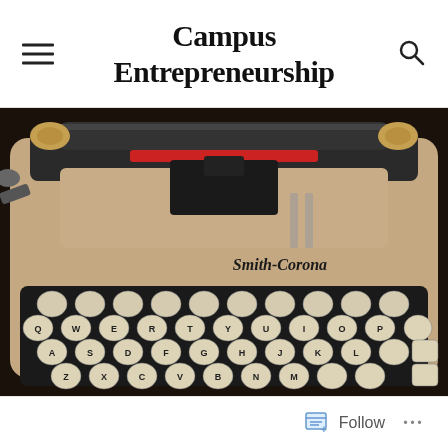Campus Entrepreneurship
[Figure (photo): Close-up photograph of a vintage Smith-Corona portable typewriter with cream/beige keys showing QWERTY layout and the Smith-Corona logo on the body, placed on a dark wooden surface.]
Follow ...